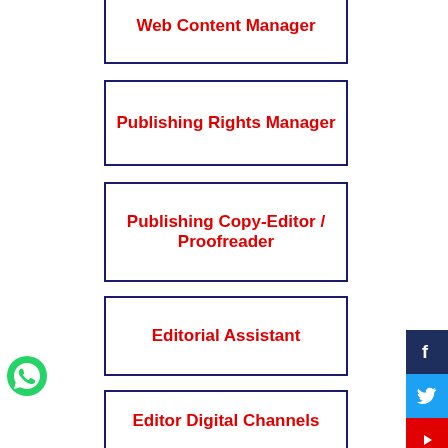Web Content Manager
Publishing Rights Manager
Publishing Copy-Editor / Proofreader
Editorial Assistant
Editor Digital Channels
Content Writer
[Figure (logo): WhatsApp green logo icon, bottom left]
[Figure (infographic): Social media sidebar with Facebook (dark blue), Twitter (blue), YouTube (red) buttons on the right edge]